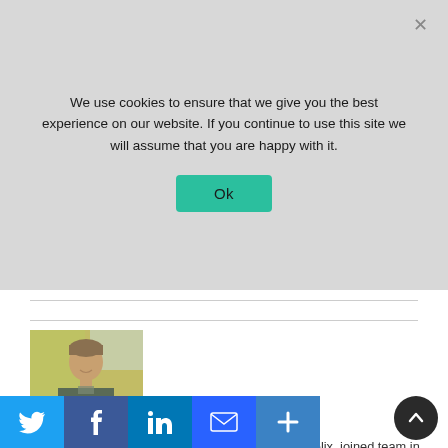We use cookies to ensure that we give you the best experience on our website. If you continue to use this site we will assume that you are happy with it.
[Figure (screenshot): Profile photo of Casey Fullem, a young man smiling outdoors with autumn foliage in the background.]
About Casey Fullem
Casey Fullem, Marketing Coordinator at Golden Helix, joined team in October of 2021. He is an analytics driven digital marketer that values tactile marketing efforts that yield return. Building a cohesive brand and executing performative marketing campaigns is his passion, alongside the slew of attributes a digital marketer man has to offer. Casey is largely
[Figure (infographic): Social media sharing bar with Twitter, Facebook, LinkedIn, Email, and plus icons in colored boxes at bottom of page.]